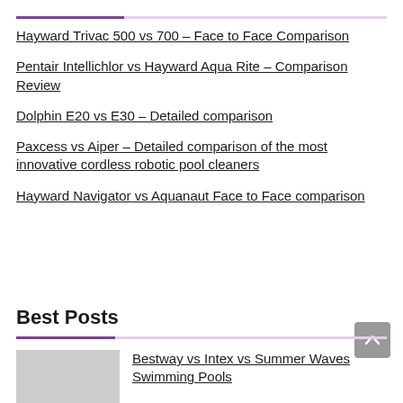Hayward Trivac 500 vs 700 – Face to Face Comparison
Pentair Intellichlor vs Hayward Aqua Rite – Comparison Review
Dolphin E20 vs E30 – Detailed comparison
Paxcess vs Aiper – Detailed comparison of the most innovative cordless robotic pool cleaners
Hayward Navigator vs Aquanaut Face to Face comparison
Best Posts
Bestway vs Intex vs Summer Waves Swimming Pools